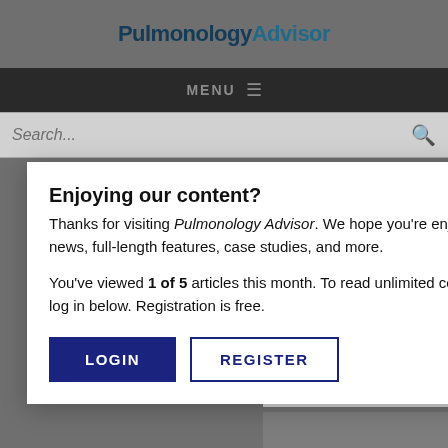PulmonologyAdvisor
MENU
Search...
Enjoying our content?
Thanks for visiting Pulmonology Advisor. We hope you’re enjoying the latest clinical news, full-length features, case studies, and more.
You’ve viewed 1 of 5 articles this month. To read unlimited content, please register or log in below. Registration is free.
LOGIN
REGISTER
NEXT POST IN ASTHMA
Once-Daily R Reduces Nig